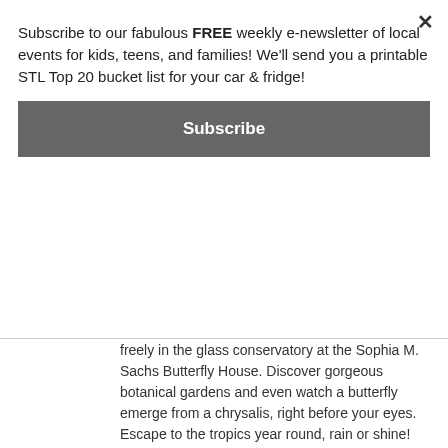Subscribe to our fabulous FREE weekly e-newsletter of local events for kids, teens, and families! We'll send you a printable STL Top 20 bucket list for your car & fridge!
Subscribe
freely in the glass conservatory at the Sophia M. Sachs Butterfly House. Discover gorgeous botanical gardens and even watch a butterfly emerge from a chrysalis, right before your eyes. Escape to the tropics year round, rain or shine!
15050 Faust Park
Chesterfield,  MO,  63017
Phone: 314-577-0888
38°.38'.49.2828".N  90°.32'.21.048".W
See map: Google Maps
[Figure (logo): Play Street Museum logo in grey text]
Play Street Museum - St. Louis